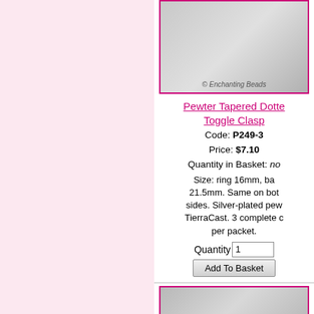[Figure (photo): Photo of Pewter Tapered Dotted Toggle Clasp with © Enchanting Beads watermark]
Pewter Tapered Dotted Toggle Clasp
Code: P249-3
Price: $7.10
Quantity in Basket: none
Size: ring 16mm, bar 21.5mm. Same on both sides. Silver-plated pewter by TierraCast. 3 complete clasps per packet.
Quantity 1
Add To Basket
[Figure (photo): Photo of Pewter Leaf Hook Clasp with © Enchanting Beads watermark]
Pewter Leaf Hook Clasp
Code: P231-4